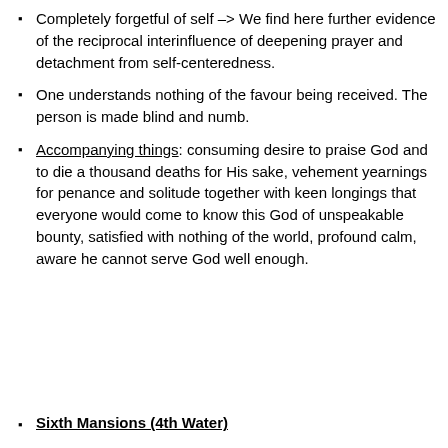Completely forgetful of self –> We find here further evidence of the reciprocal interinfluence of deepening prayer and detachment from self-centeredness.
One understands nothing of the favour being received. The person is made blind and numb.
Accompanying things: consuming desire to praise God and to die a thousand deaths for His sake, vehement yearnings for penance and solitude together with keen longings that everyone would come to know this God of unspeakable bounty, satisfied with nothing of the world, profound calm, aware he cannot serve God well enough.
Sixth Mansions (4th Water)